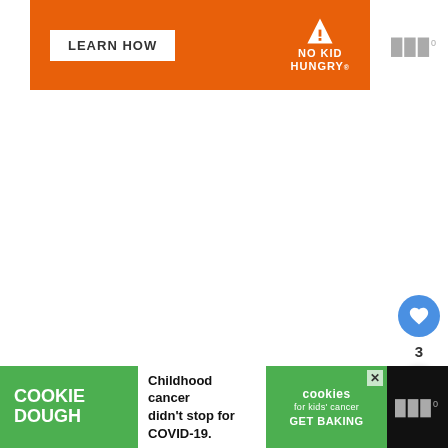[Figure (infographic): Orange No Kid Hungry advertisement banner with 'LEARN HOW' button and No Kid Hungry logo]
[Figure (infographic): Social interaction sidebar with heart/like button showing 3 likes and a share button]
[Figure (infographic): Bottom advertisement for Cookie Dough cookies for kids cancer with text 'Childhood cancer didn't stop for COVID-19. GET BAKING']